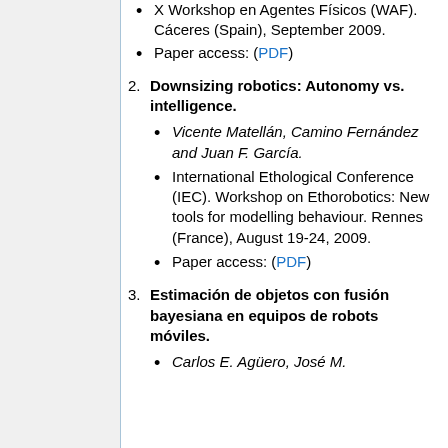X Workshop en Agentes Físicos (WAF). Cáceres (Spain), September 2009.
Paper access: (PDF)
Downsizing robotics: Autonomy vs. intelligence.
Vicente Matellán, Camino Fernández and Juan F. García.
International Ethological Conference (IEC). Workshop on Ethorobotics: New tools for modelling behaviour. Rennes (France), August 19-24, 2009.
Paper access: (PDF)
Estimación de objetos con fusión bayesiana en equipos de robots móviles.
Carlos E. Agüero, José M.